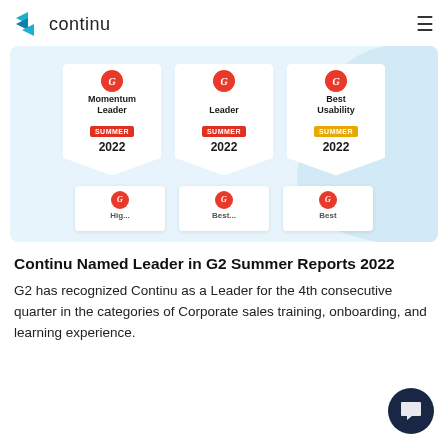continu
[Figure (illustration): G2 Summer 2022 award badges: Momentum Leader, Leader, Best Usability (top row), and three partially visible badges (bottom row) on a light blue background with a curved arc design.]
Continu Named Leader in G2 Summer Reports 2022
G2 has recognized Continu as a Leader for the 4th consecutive quarter in the categories of Corporate sales training, onboarding, and learning experience.